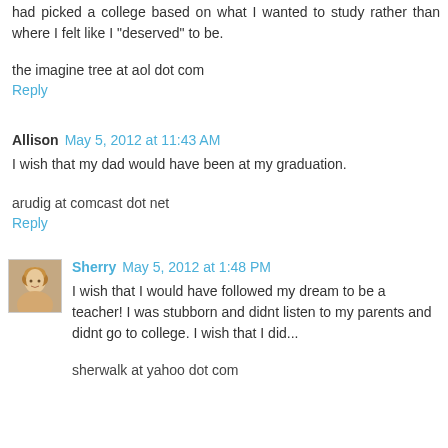had picked a college based on what I wanted to study rather than where I felt like I "deserved" to be.
the imagine tree at aol dot com
Reply
Allison  May 5, 2012 at 11:43 AM
I wish that my dad would have been at my graduation.
arudig at comcast dot net
Reply
Sherry  May 5, 2012 at 1:48 PM
I wish that I would have followed my dream to be a teacher! I was stubborn and didnt listen to my parents and didnt go to college. I wish that I did...
sherwalk at yahoo dot com